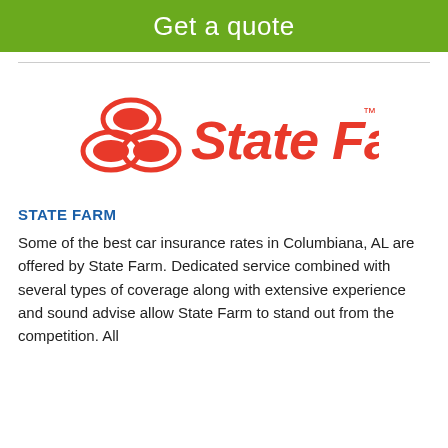Get a quote
[Figure (logo): State Farm logo with three red ovals and red italic text 'State Farm' with trademark symbol]
STATE FARM
Some of the best car insurance rates in Columbiana, AL are offered by State Farm. Dedicated service combined with several types of coverage along with extensive experience and sound advise allow State Farm to stand out from the competition. All